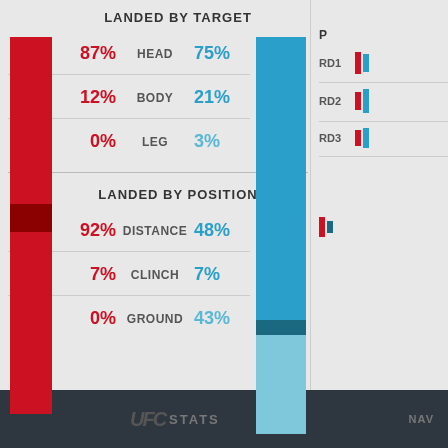LANDED BY TARGET
[Figure (infographic): Landed by target stats: HEAD 87% red vs 75% blue, BODY 12% red vs 21% blue, LEG 0% red vs 3% blue. Red vertical bar on left, blue stacked bar on right.]
LANDED BY POSITION
[Figure (infographic): Landed by position stats: DISTANCE 92% red vs 48% blue, CLINCH 7% red vs 7% blue, GROUND 0% red vs 43% blue. Red vertical bar on left, blue stacked bar on right.]
P (right panel, partially visible)
RD1
RD2
RD3
UFC STATS   NAV